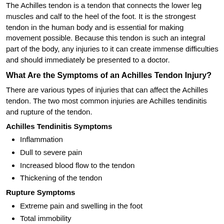The Achilles tendon is a tendon that connects the lower leg muscles and calf to the heel of the foot. It is the strongest tendon in the human body and is essential for making movement possible. Because this tendon is such an integral part of the body, any injuries to it can create immense difficulties and should immediately be presented to a doctor.
What Are the Symptoms of an Achilles Tendon Injury?
There are various types of injuries that can affect the Achilles tendon. The two most common injuries are Achilles tendinitis and rupture of the tendon.
Achilles Tendinitis Symptoms
Inflammation
Dull to severe pain
Increased blood flow to the tendon
Thickening of the tendon
Rupture Symptoms
Extreme pain and swelling in the foot
Total immobility